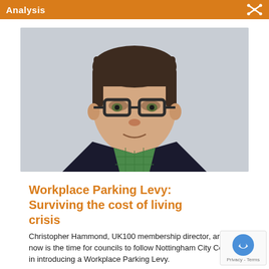Analysis
[Figure (photo): Headshot of Christopher Hammond, a man with dark hair and glasses wearing a dark jacket and green checked shirt, against a light grey background.]
Workplace Parking Levy: Surviving the cost of living crisis
Christopher Hammond, UK100 membership director, argues now is the time for councils to follow Nottingham City Council in introducing a Workplace Parking Levy.